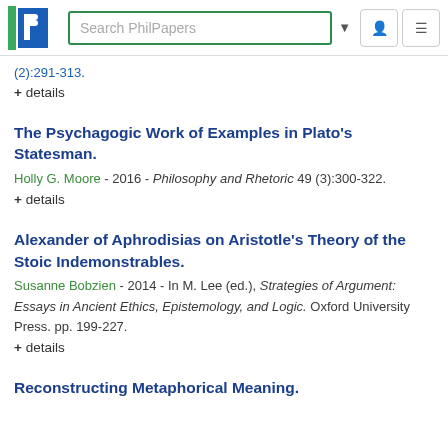Search PhilPapers
(2):291-313.
+ details
The Psychagogic Work of Examples in Plato's Statesman.
Holly G. Moore - 2016 - Philosophy and Rhetoric 49 (3):300-322.
+ details
Alexander of Aphrodisias on Aristotle's Theory of the Stoic Indemonstrables.
Susanne Bobzien - 2014 - In M. Lee (ed.), Strategies of Argument: Essays in Ancient Ethics, Epistemology, and Logic. Oxford University Press. pp. 199-227.
+ details
Reconstructing Metaphorical Meaning.